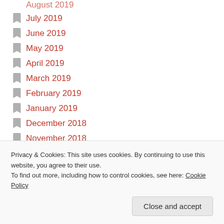August 2019 (partial, top)
July 2019
June 2019
May 2019
April 2019
March 2019
February 2019
January 2019
December 2018
November 2018
October 2018
September 2018
August 2018
February 2018 (partial, bottom)
Privacy & Cookies: This site uses cookies. By continuing to use this website, you agree to their use.
To find out more, including how to control cookies, see here: Cookie Policy
Close and accept